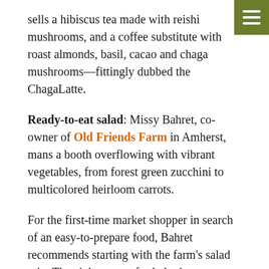sells a hibiscus tea made with reishi mushrooms, and a coffee substitute with roast almonds, basil, cacao and chaga mushrooms—fittingly dubbed the ChagaLatte.
Ready-to-eat salad: Missy Bahret, co-owner of Old Friends Farm in Amherst, mans a booth overflowing with vibrant vegetables, from forest green zucchini to multicolored heirloom carrots.
For the first-time market shopper in search of an easy-to-prepare food, Bahret recommends starting with the farm's salad mix. The eight types of salad mix cost between $3.50 to $6, and come in variations from salad greens to baby kale. The newest salad, dubbed “Magic Mix,” is a combination of salad greens, baby lettuce and colorful, edible flowers.
The bagged mix is triple-washed and ready to eat, but Bahret recommends throwing in a few of the farm’s bright